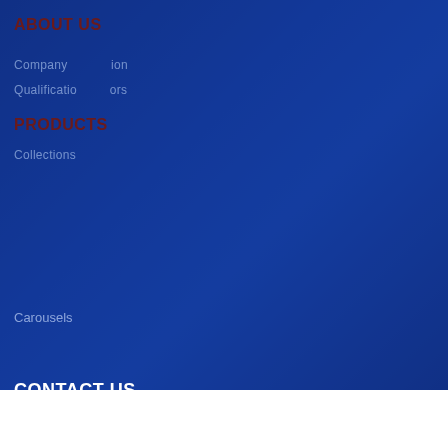ABOUT US
Company Introduction
Qualification/Honors
PRODUCTS
Collections
Carousels
CONTACT US
Tel:  (+86) 760-28132780
(+86) 760-28132738
E-mail:
Address:  No.5 Yanjiang East 3rd Road, Torch Development Zone, Zhongshan,